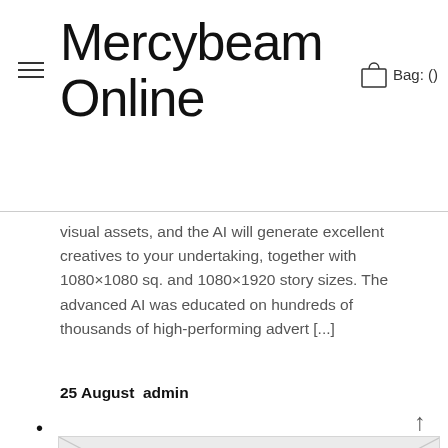Mercybeam Online
visual assets, and the AI will generate excellent creatives to your undertaking, together with 1080×1080 sq. and 1080×1920 story sizes. The advanced AI was educated on hundreds of thousands of high-performing advert [...]
25 August admin
[Figure (illustration): Placeholder image with diagonal cross lines and an image icon in the center, indicating a blog post thumbnail]